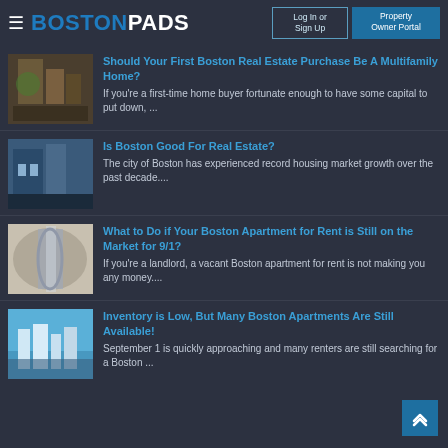BOSTONPADS — Log In or Sign Up | Property Owner Portal
Should Your First Boston Real Estate Purchase Be A Multifamily Home?
If you're a first-time home buyer fortunate enough to have some capital to put down, ...
Is Boston Good For Real Estate?
The city of Boston has experienced record housing market growth over the past decade....
What to Do if Your Boston Apartment for Rent is Still on the Market for 9/1?
If you're a landlord, a vacant Boston apartment for rent is not making you any money....
Inventory is Low, But Many Boston Apartments Are Still Available!
September 1 is quickly approaching and many renters are still searching for a Boston ...